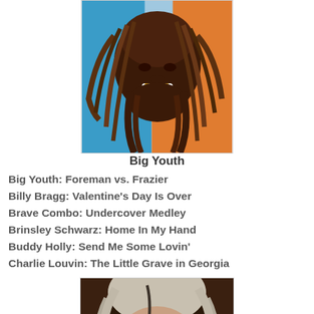[Figure (photo): Photo of Big Youth, a reggae artist with dreadlocks, smiling, against a colorful background]
Big Youth
Big Youth: Foreman vs. Frazier
Billy Bragg: Valentine's Day Is Over
Brave Combo: Undercover Medley
Brinsley Schwarz: Home In My Hand
Buddy Holly: Send Me Some Lovin'
Charlie Louvin: The Little Grave in Georgia
[Figure (photo): Photo of an older man with white/grey hair and round black glasses, against a dark brown background]